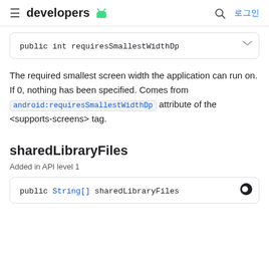developers [android logo] 로그인
public int requiresSmallestWidthDp
The required smallest screen width the application can run on. If 0, nothing has been specified. Comes from android:requiresSmallestWidthDp attribute of the <supports-screens> tag.
sharedLibraryFiles
Added in API level 1
public String[] sharedLibraryFiles